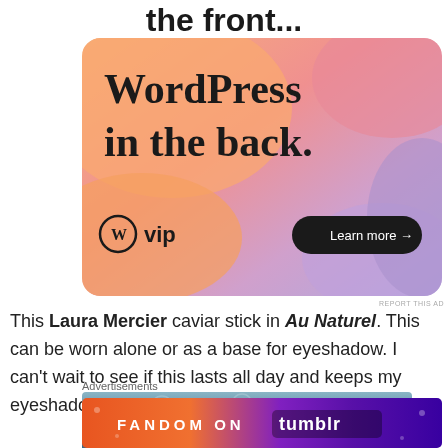the front...
[Figure (illustration): WordPress VIP advertisement with colorful gradient background featuring blobs in orange, pink, and purple. Text reads 'WordPress in the back.' with WordPress VIP logo and a 'Learn more →' button.]
REPORT THIS AD
This Laura Mercier caviar stick in Au Naturel. This can be worn alone or as a base for eyeshadow. I can't wait to see if this lasts all day and keeps my eyeshadow in place.
[Figure (photo): Partial photo of textured fabric or material in blue/teal tones]
Advertisements
[Figure (illustration): Fandom on Tumblr advertisement with orange-to-purple gradient background and decorative sticker-like elements.]